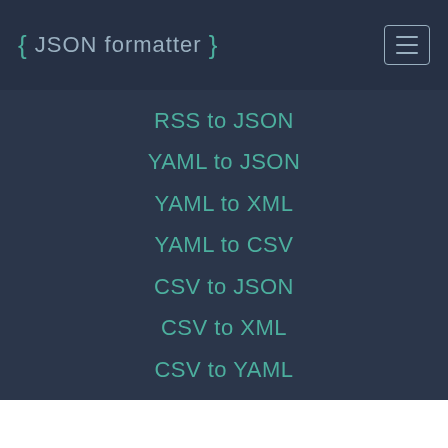{ JSON formatter }
RSS to JSON
YAML to JSON
YAML to XML
YAML to CSV
CSV to JSON
CSV to XML
CSV to YAML